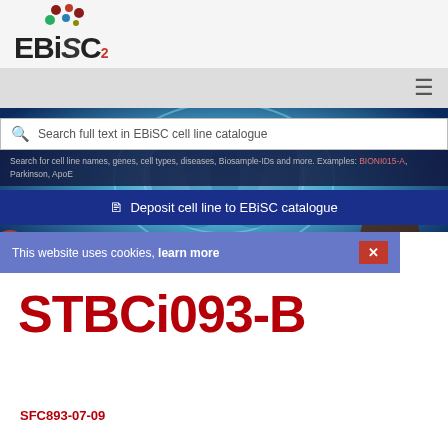[Figure (logo): EBiSC2 logo with colorful dots above the text]
[Figure (screenshot): Navigation bar with hamburger menu icon on right]
[Figure (photo): Blue brain/neural cell background image]
Search full text in EBiSC cell line catalogue
Search for cell line names, genes, cell types, diseases, Biosample-IDs and more. Examples: BIONI015-A, Parkinson, ApoE
Deposit cell line to EBiSC catalogue
This website uses cookies, learn more
STBCi093-B
SFC893-07-09